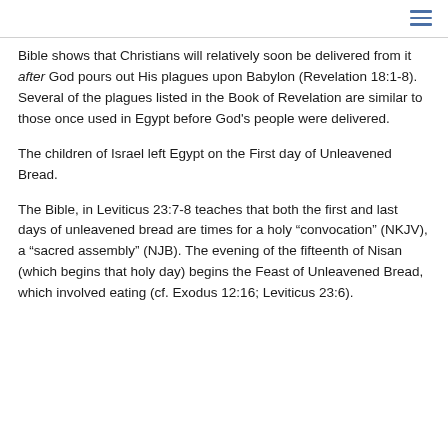Bible shows that Christians will relatively soon be delivered from it after God pours out His plagues upon Babylon (Revelation 18:1-8). Several of the plagues listed in the Book of Revelation are similar to those once used in Egypt before God’s people were delivered.
The children of Israel left Egypt on the First day of Unleavened Bread.
The Bible, in Leviticus 23:7-8 teaches that both the first and last days of unleavened bread are times for a holy “convocation” (NKJV), a “sacred assembly” (NJB). The evening of the fifteenth of Nisan (which begins that holy day) begins the Feast of Unleavened Bread, which involved eating (cf. Exodus 12:16; Leviticus 23:6).